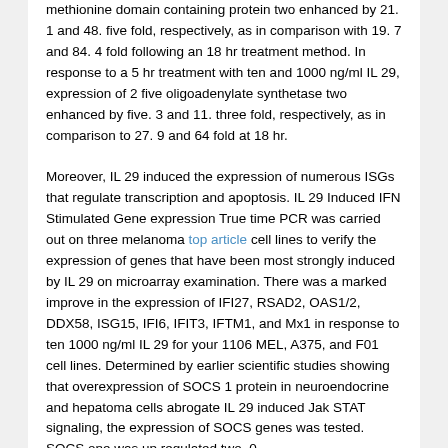methionine domain containing protein two enhanced by 21. 1 and 48. five fold, respectively, as in comparison with 19. 7 and 84. 4 fold following an 18 hr treatment method. In response to a 5 hr treatment with ten and 1000 ng/ml IL 29, expression of 2 five oligoadenylate synthetase two enhanced by five. 3 and 11. three fold, respectively, as in comparison to 27. 9 and 64 fold at 18 hr. Moreover, IL 29 induced the expression of numerous ISGs that regulate transcription and apoptosis. IL 29 Induced IFN Stimulated Gene expression True time PCR was carried out on three melanoma top article cell lines to verify the expression of genes that have been most strongly induced by IL 29 on microarray examination. There was a marked improve in the expression of IFI27, RSAD2, OAS1/2, DDX58, ISG15, IFI6, IFIT3, IFTM1, and Mx1 in response to ten 1000 ng/ml IL 29 for your 1106 MEL, A375, and F01 cell lines. Determined by earlier scientific studies showing that overexpression of SOCS 1 protein in neuroendocrine and hepatoma cells abrogate IL 29 induced Jak STAT signaling, the expression of SOCS genes was tested. SOCS one was up regulated two. 0